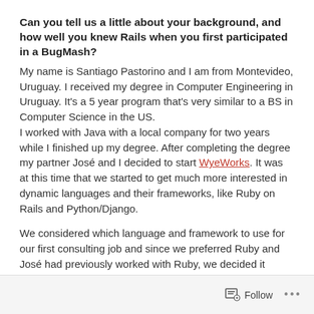Can you tell us a little about your background, and how well you knew Rails when you first participated in a BugMash?
My name is Santiago Pastorino and I am from Montevideo, Uruguay. I received my degree in Computer Engineering in Uruguay. It's a 5 year program that's very similar to a BS in Computer Science in the US.
I worked with Java with a local company for two years while I finished up my degree. After completing the degree my partner José and I decided to start WyeWorks. It was at this time that we started to get much more interested in dynamic languages and their frameworks, like Ruby on Rails and Python/Django.
We considered which language and framework to use for our first consulting job and since we preferred Ruby and José had previously worked with Ruby, we decided it would be best to start with Ruby on Rails.
Follow ...